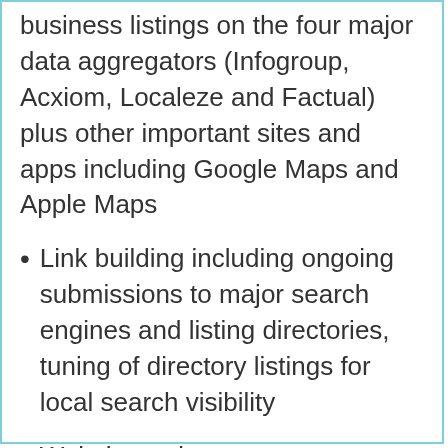business listings on the four major data aggregators (Infogroup, Acxiom, Localeze and Factual) plus other important sites and apps including Google Maps and Apple Maps
Link building including ongoing submissions to major search engines and listing directories, tuning of directory listings for local search visibility
Website updates – any new information or new photos are added free of cost (maximum of one batch of updates per week)